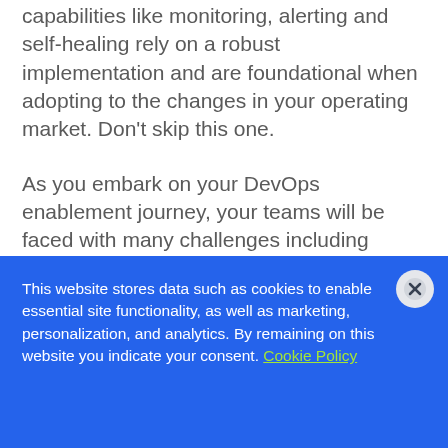capabilities like monitoring, alerting and self-healing rely on a robust implementation and are foundational when adopting to the changes in your operating market. Don't skip this one.
As you embark on your DevOps enablement journey, your teams will be faced with many challenges including making choices on what practices and standards they should learn and implement. It can be difficult to pinpoint the right focus.
This website stores data such as cookies to enable essential site functionality, as well as marketing, personalization, and analytics. By remaining on this website you indicate your consent. Cookie Policy